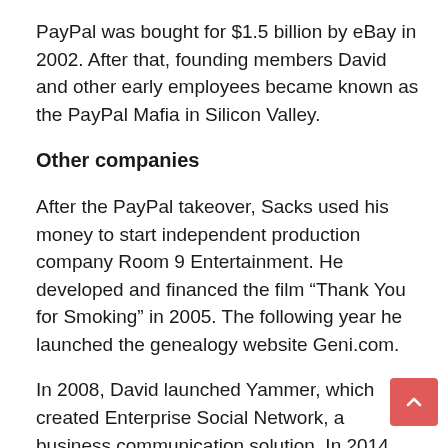PayPal was bought for $1.5 billion by eBay in 2002. After that, founding members David and other early employees became known as the PayPal Mafia in Silicon Valley.
Other companies
After the PayPal takeover, Sacks used his money to start independent production company Room 9 Entertainment. He developed and financed the film “Thank You for Smoking” in 2005. The following year he launched the genealogy website Geni.com.
In 2008, David launched Yammer, which created Enterprise Social Network, a business communication solution. In 2014, David launched technology company Zenefits. He became an angel investor and invested in several promising cryptocurrencies such as Solana.
His last business venture was Craft Ventures, founded in 2017.